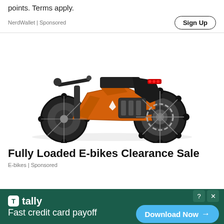points. Terms apply.
NerdWallet | Sponsored
Sign Up
[Figure (photo): An orange and black electric fat-tire mountain e-bike with chunky knobby tires, LED tail light, and a sporty frame, photographed on a white background at a 3/4 angle.]
Fully Loaded E-bikes Clearance Sale
E-bikes | Sponsored
[Figure (infographic): Tally app advertisement banner. Dark green background. Tally logo with icon on the left and text 'Fast credit card payoff'. On the right side, a blue 'Download Now →' button. Top right has close and help icons.]